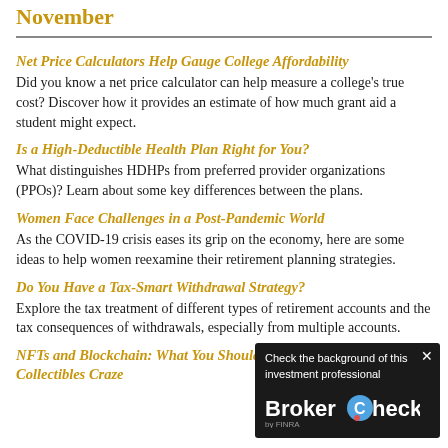November
Net Price Calculators Help Gauge College Affordability
Did you know a net price calculator can help measure a college's true cost? Discover how it provides an estimate of how much grant aid a student might expect.
Is a High-Deductible Health Plan Right for You?
What distinguishes HDHPs from preferred provider organizations (PPOs)? Learn about some key differences between the plans.
Women Face Challenges in a Post-Pandemic World
As the COVID-19 crisis eases its grip on the economy, here are some ideas to help women reexamine their retirement planning strategies.
Do You Have a Tax-Smart Withdrawal Strategy?
Explore the tax treatment of different types of retirement accounts and the tax consequences of withdrawals, especially from multiple accounts.
NFTs and Blockchain: What You Should Know About the Digital Collectibles Craze